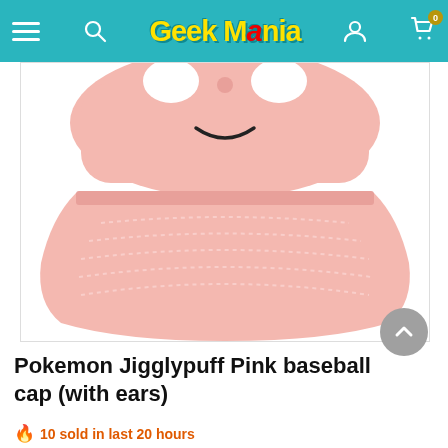Geek Mania
[Figure (photo): Close-up photo of a pink Jigglypuff baseball cap/visor with a smiling face embroidered on the top and white stitching lines on the brim, displayed on a white background.]
Pokemon Jigglypuff Pink baseball cap (with ears)
10 sold in last 20 hours